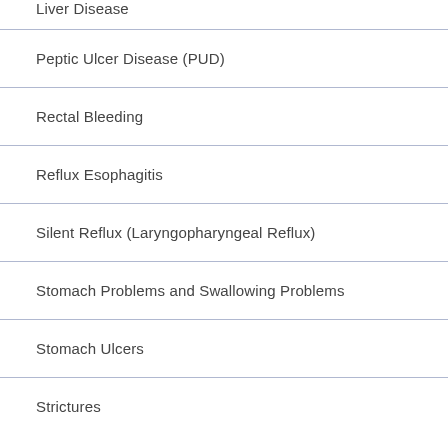Liver Disease
Peptic Ulcer Disease (PUD)
Rectal Bleeding
Reflux Esophagitis
Silent Reflux (Laryngopharyngeal Reflux)
Stomach Problems and Swallowing Problems
Stomach Ulcers
Strictures